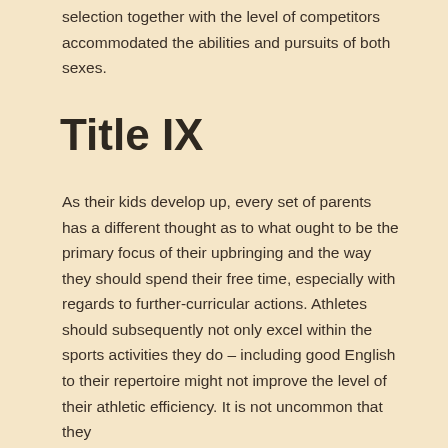requirement for faculties to make sure that sports selection together with the level of competitors accommodated the abilities and pursuits of both sexes.
Title IX
As their kids develop up, every set of parents has a different thought as to what ought to be the primary focus of their upbringing and the way they should spend their free time, especially with regards to further-curricular actions. Athletes should subsequently not only excel within the sports activities they do – including good English to their repertoire might not improve the level of their athletic efficiency. It is not uncommon that they